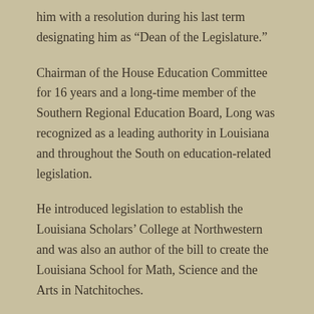him with a resolution during his last term designating him as “Dean of the Legislature.”
Chairman of the House Education Committee for 16 years and a long-time member of the Southern Regional Education Board, Long was recognized as a leading authority in Louisiana and throughout the South on education-related legislation.
He introduced legislation to establish the Louisiana Scholars’ College at Northwestern and was also an author of the bill to create the Louisiana School for Math, Science and the Arts in Natchitoches.
Long, who attended Northwestern State, helped obtain millions of dollars over the years for construction and renovation projects at the school and for highways.